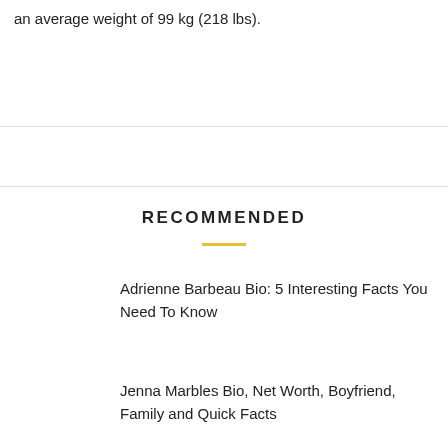an average weight of 99 kg (218 lbs).
RECOMMENDED
Adrienne Barbeau Bio: 5 Interesting Facts You Need To Know
Jenna Marbles Bio, Net Worth, Boyfriend, Family and Quick Facts